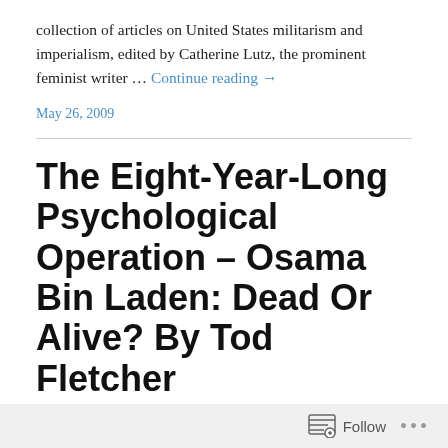collection of articles on United States militarism and imperialism, edited by Catherine Lutz, the prominent feminist writer … Continue reading →
May 26, 2009
The Eight-Year-Long Psychological Operation – Osama Bin Laden: Dead Or Alive? By Tod Fletcher
Dandelion Salad By Tod Fletcher May 26, 2009
"Information Clearing House" A review of a new book by David Ray Griffin Osama Bin Laden: Dead Or Alive? by